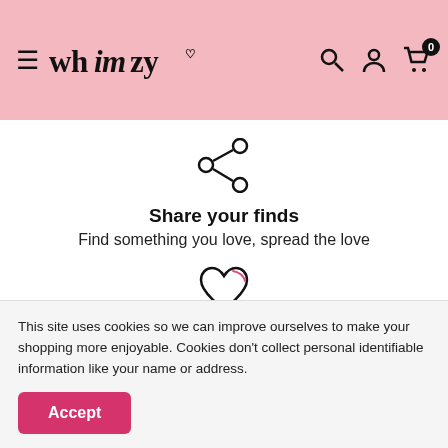Whimzy — navigation header with hamburger menu, logo, search, account, and cart (0)
[Figure (illustration): Share icon — three connected circles forming a network/share symbol]
Share your finds
Find something you love, spread the love
[Figure (illustration): Heart/wishlist icon — outline heart shape]
Use our Wishlist
Add and share your favorite items with our wishlist feature
This site uses cookies so we can improve ourselves to make your shopping more enjoyable. Cookies don't collect personal identifiable information like your name or address.
Accept
Fast, Easy and Secure payment.